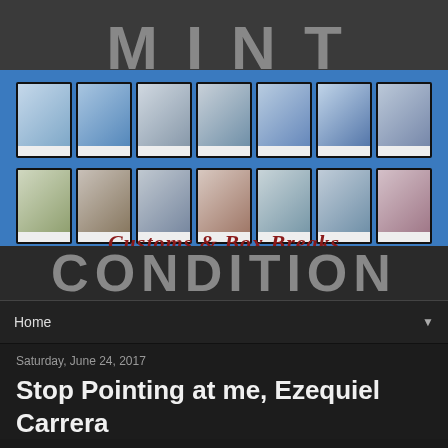[Figure (logo): Mint Condition Customs & Box Breaks logo banner with baseball cards displayed on blue background]
Home
Saturday, June 24, 2017
Stop Pointing at me, Ezequiel Carrera